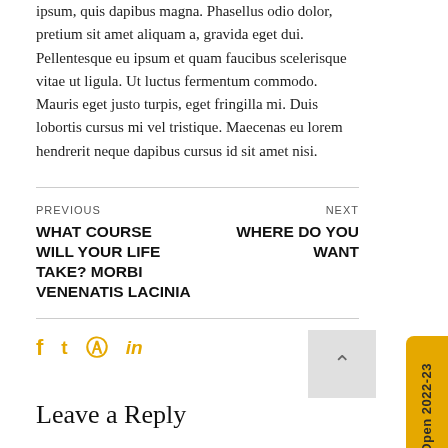ipsum, quis dapibus magna. Phasellus odio dolor, pretium sit amet aliquam a, gravida eget dui. Pellentesque eu ipsum et quam faucibus scelerisque vitae ut ligula. Ut luctus fermentum commodo. Mauris eget justo turpis, eget fringilla mi. Duis lobortis cursus mi vel tristique. Maecenas eu lorem hendrerit neque dapibus cursus id sit amet nisi.
PREVIOUS
WHAT COURSE WILL YOUR LIFE TAKE? MORBI VENENATIS LACINIA
NEXT
WHERE DO YOU WANT
[Figure (other): Social media icons: Facebook, Twitter, Pinterest, LinkedIn in gold/yellow color]
[Figure (other): Back to top button with upward arrow]
Admission Open 2022-23
Leave a Reply